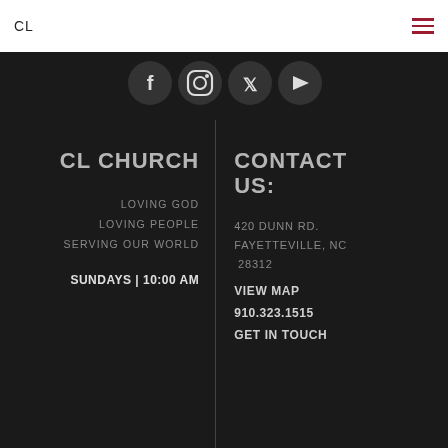CL
[Figure (other): Social media icons row: Facebook, Instagram, Twitter, YouTube]
CL CHURCH
LOVING GOD
LOVING PEOPLE
SERVING OUR WORLD
SUNDAYS | 10:00 AM
CONTACT US:
420 DUNN RD. FAYETTEVILLE, NC 28312
VIEW MAP
910.323.1515
GET IN TOUCH